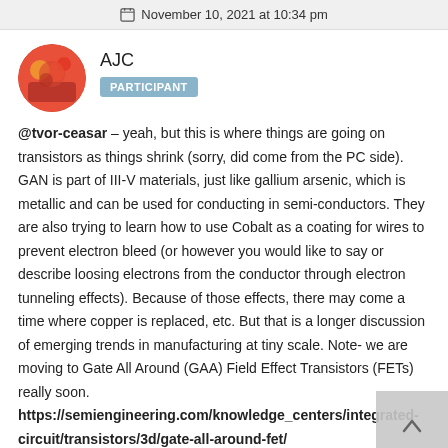November 10, 2021 at 10:34 pm
AJC
PARTICIPANT
@tvor-ceasar – yeah, but this is where things are going on transistors as things shrink (sorry, did come from the PC side). GAN is part of III-V materials, just like gallium arsenic, which is metallic and can be used for conducting in semi-conductors. They are also trying to learn how to use Cobalt as a coating for wires to prevent electron bleed (or however you would like to say or describe loosing electrons from the conductor through electron tunneling effects). Because of those effects, there may come a time where copper is replaced, etc. But that is a longer discussion of emerging trends in manufacturing at tiny scale. Note- we are moving to Gate All Around (GAA) Field Effect Transistors (FETs) really soon.
https://semiengineering.com/knowledge_centers/integrated-circuit/transistors/3d/gate-all-around-fet/
https://www.notebookcheck.net/TSMC-to-implement-gate-all-